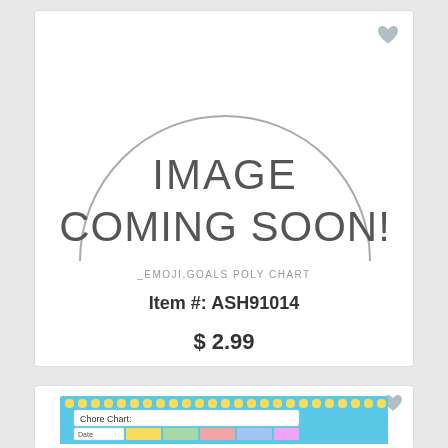[Figure (other): Product card showing 'IMAGE COMING SOON' placeholder with semicircle graphic for _EMOJI,GOALS POLY CHART, Item #: ASH91014, $2.99]
_EMOJI,GOALS POLY CHART
Item #: ASH91014
$ 2.99
[Figure (photo): Second product card showing a chore chart with emoji theme, blue border with emoji icons, visible text 'Chore Chart:' and 'Date']